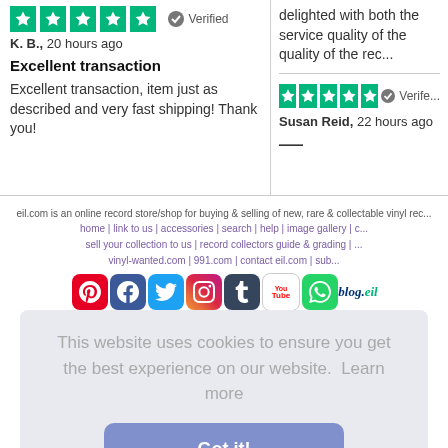[Figure (illustration): Five green Trustpilot stars with Verified badge - left column]
K. B., 20 hours ago
Excellent transaction
Excellent transaction, item just as described and very fast shipping! Thank you!
delighted with both the service quality of the quality of the rec...
[Figure (illustration): Five green Trustpilot stars with Verified badge - right column]
Susan Reid, 22 hours ago
— ...
eil.com is an online record store/shop for buying & selling of new, rare & collectable vinyl rec...
home | link to us | accessories | search | help | image gallery | c...
sell your collection to us | record collectors guide & grading | ...
vinyl-wanted.com | 991.com | contact eil.com | sub...
[Figure (illustration): Social media icons: Pinterest, Facebook, Twitter, Instagram, Tumblr, YouTube, WhatsApp, blog.eil]
©1996-2022 eil.com I privacy policy. cookies policy. ordering info...
This website uses cookies to ensure you get the best experience on our website.  Learn more
Got it!